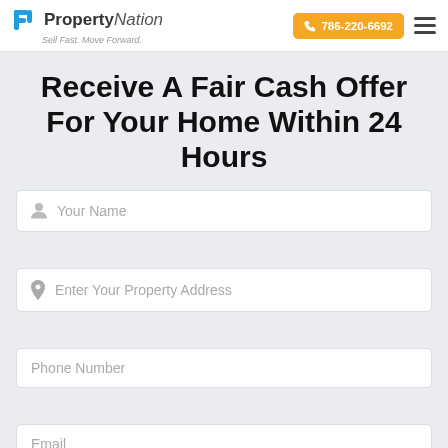PropertyNation — Sell Fast. Move Forward. | 786-220-6692
Receive A Fair Cash Offer For Your Home Within 24 Hours
Your Name
Enter Your Property Address
Phone Number
Email